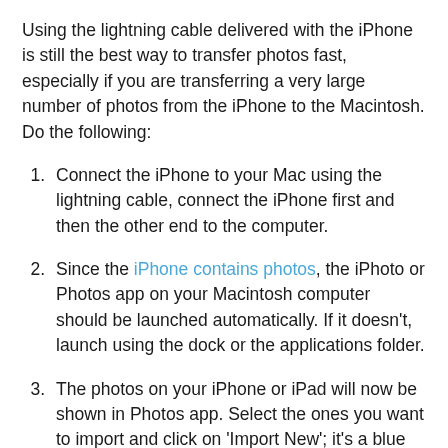Using the lightning cable delivered with the iPhone is still the best way to transfer photos fast, especially if you are transferring a very large number of photos from the iPhone to the Macintosh. Do the following:
Connect the iPhone to your Mac using the lightning cable, connect the iPhone first and then the other end to the computer.
Since the iPhone contains photos, the iPhoto or Photos app on your Macintosh computer should be launched automatically. If it doesn't, launch using the dock or the applications folder.
The photos on your iPhone or iPad will now be shown in Photos app. Select the ones you want to import and click on 'Import New'; it's a blue button on